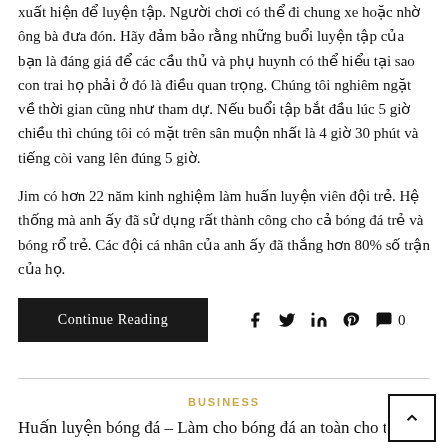xuất hiện để luyện tập. Người chơi có thể đi chung xe hoặc nhờ ông bà đưa đón. Hãy đảm bảo rằng những buổi luyện tập của bạn là đáng giá để các cầu thủ và phụ huynh có thể hiểu tại sao con trai họ phải ở đó là điều quan trọng. Chúng tôi nghiêm ngặt về thời gian cũng như tham dự. Nếu buổi tập bắt đầu lúc 5 giờ chiều thì chúng tôi có mặt trên sân muộn nhất là 4 giờ 30 phút và tiếng còi vang lên đúng 5 giờ.
Jim có hơn 22 năm kinh nghiệm làm huấn luyện viên đội trẻ. Hệ thống mà anh ấy đã sử dụng rất thành công cho cả bóng đá trẻ và bóng rổ trẻ. Các đội cá nhân của anh ấy đã thắng hơn 80% số trận của họ.
Continue Reading
BUSINESS
Huấn luyện bóng đá – Làm cho bóng đá an toàn cho t…